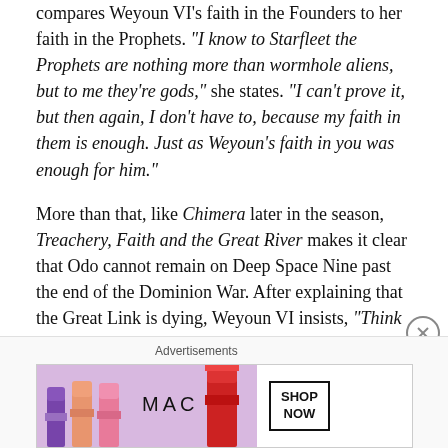compares Weyoun VI's faith in the Founders to her faith in the Prophets. "I know to Starfleet the Prophets are nothing more than wormhole aliens, but to me they're gods," she states. "I can't prove it, but then again, I don't have to, because my faith in them is enough. Just as Weyoun's faith in you was enough for him."
More than that, like Chimera later in the season, Treachery, Faith and the Great River makes it clear that Odo cannot remain on Deep Space Nine past the end of the Dominion War. After explaining that the Great Link is dying, Weyoun VI insists, "Think about it, Odo. You have an opportunity to rectify the mistakes your people have"
Advertisements
[Figure (photo): MAC cosmetics advertisement banner showing lipsticks and the MAC logo with a 'SHOP NOW' button]